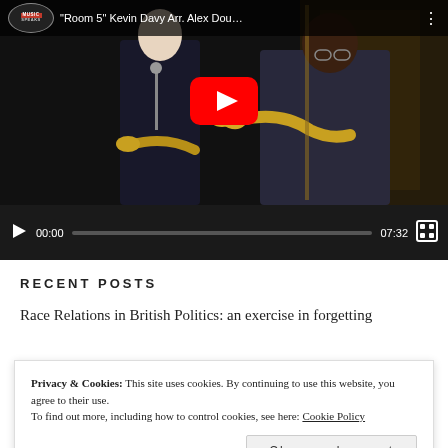[Figure (screenshot): YouTube video player showing musicians playing trumpets, with title 'Room 5 Kevin Davy Arr. Alex Dou...' and Music Speaks badge. Controls show 00:00 timestamp and 07:32 duration.]
RECENT POSTS
Race Relations in British Politics: an exercise in forgetting
Privacy & Cookies: This site uses cookies. By continuing to use this website, you agree to their use.
To find out more, including how to control cookies, see here: Cookie Policy
Close and accept
7 JUL 2022